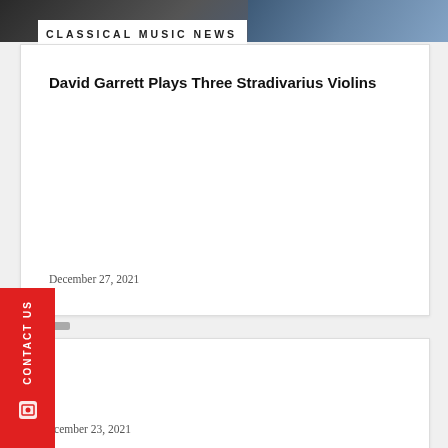[Figure (photo): Top banner image showing a musician, partially visible, with blue background tones]
CLASSICAL MUSIC NEWS
David Garrett Plays Three Stradivarius Violins
December 27, 2021
December 23, 2021